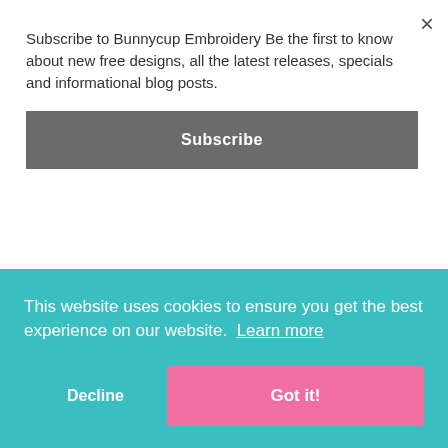[Figure (illustration): Two embroidery design panels side by side: left panel shows 'exactly where God wants me to be' in teal and gold italic script; right panel shows 'This too is part of eternity' in black script lettering.]
Subscribe to Bunnycup Embroidery Be the first to know about new free designs, all the latest releases, specials and informational blog posts.
Subscribe
This website uses cookies to ensure you get the best experience on our website. Learn more
Decline
Got it!
12 designs